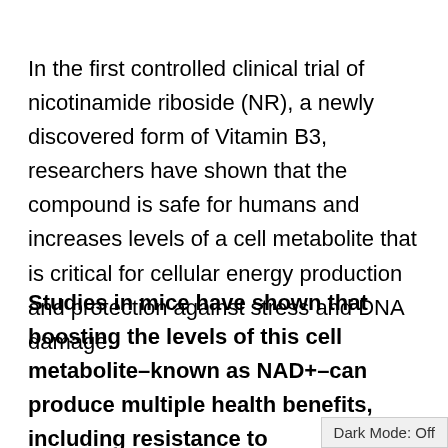In the first controlled clinical trial of nicotinamide riboside (NR), a newly discovered form of Vitamin B3, researchers have shown that the compound is safe for humans and increases levels of a cell metabolite that is critical for cellular energy production and protection against stress and DNA damage.
Studies in mice have shown that boosting the levels of this cell metabolite–known as NAD+–can produce multiple health benefits, including resistance to